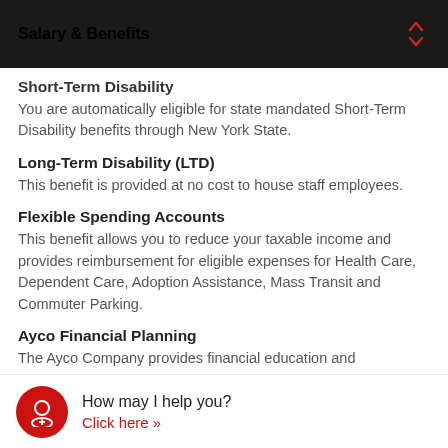Salary & Benefits
Short-Term Disability
You are automatically eligible for state mandated Short-Term Disability benefits through New York State.
Long-Term Disability (LTD)
This benefit is provided at no cost to house staff employees.
Flexible Spending Accounts
This benefit allows you to reduce your taxable income and provides reimbursement for eligible expenses for Health Care, Dependent Care, Adoption Assistance, Mass Transit and Commuter Parking.
Ayco Financial Planning
The Ayco Company provides financial education and
How may I help you?
Click here >>